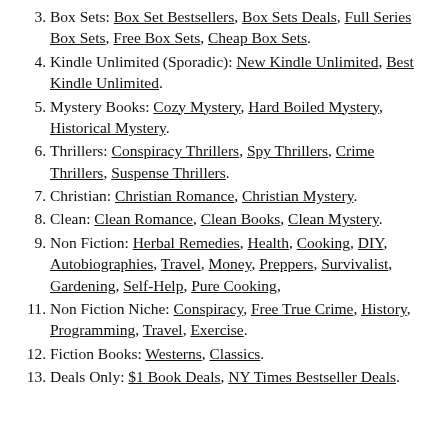3. Box Sets: Box Set Bestsellers, Box Sets Deals, Full Series Box Sets, Free Box Sets, Cheap Box Sets.
4. Kindle Unlimited (Sporadic): New Kindle Unlimited, Best Kindle Unlimited.
5. Mystery Books: Cozy Mystery, Hard Boiled Mystery, Historical Mystery.
6. Thrillers: Conspiracy Thrillers, Spy Thrillers, Crime Thrillers, Suspense Thrillers.
7. Christian: Christian Romance, Christian Mystery.
8. Clean: Clean Romance, Clean Books, Clean Mystery.
9. Non Fiction: Herbal Remedies, Health, Cooking, DIY, Autobiographies, Travel, Money, Preppers, Survivalist, Gardening, Self-Help, Pure Cooking,
10. Non Fiction Niche: Conspiracy, Free True Crime, History, Programming, Travel, Exercise.
11. Fiction Books: Westerns, Classics.
12. Deals Only: $1 Book Deals, NY Times Bestseller Deals.